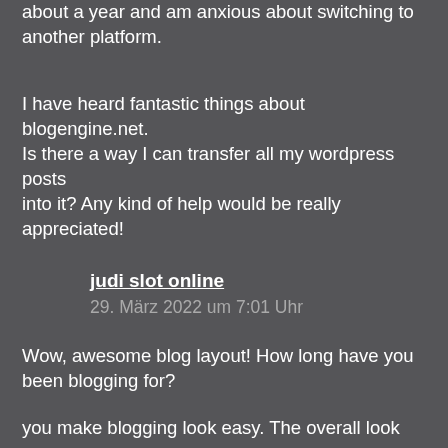about a year and am anxious about switching to another platform.
I have heard fantastic things about blogengine.net. Is there a way I can transfer all my wordpress posts into it? Any kind of help would be really appreciated!
judi slot online
29. März 2022 um 7:01 Uhr
Wow, awesome blog layout! How long have you been blogging for?
you make blogging look easy. The overall look